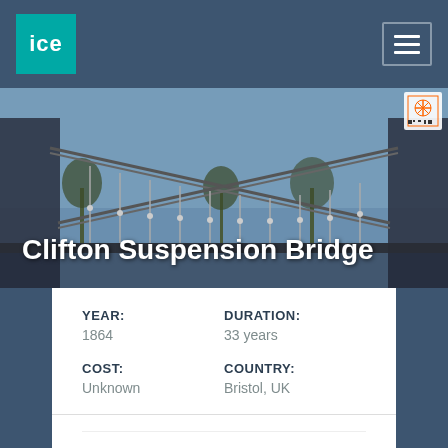ICE
[Figure (photo): Clifton Suspension Bridge photograph showing suspension cables and bridge structure against a blue sky with bare trees in the background]
Clifton Suspension Bridge
| YEAR: | DURATION: |
| 1864 | 33 years |
| COST: | COUNTRY: |
| Unknown | Bristol, UK |
WHAT DID THIS PROJECT ACHIEVE?